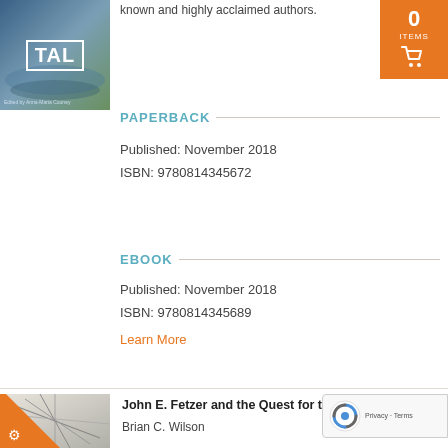known and highly acclaimed authors.
[Figure (illustration): Book cover with TAL text in white on a nature/water background]
PAPERBACK
Published: November 2018
ISBN: 9780814345672
EBOOK
Published: November 2018
ISBN: 9780814345689
Learn More
[Figure (illustration): Book cover bottom with geometric lines pattern for John E. Fetzer]
John E. Fetzer and the Quest for the New Age
Brian C. Wilson